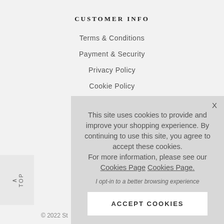CUSTOMER INFO
Terms & Conditions
Payment & Security
Privacy Policy
Cookie Policy
This site uses cookies to provide and improve your shopping experience. By continuing to use this site, you agree to accept these cookies. For more information, please see our Cookies Page Cookies Page.

I opt-in to a better browsing experience
ACCEPT COOKIES
© 2022 St...